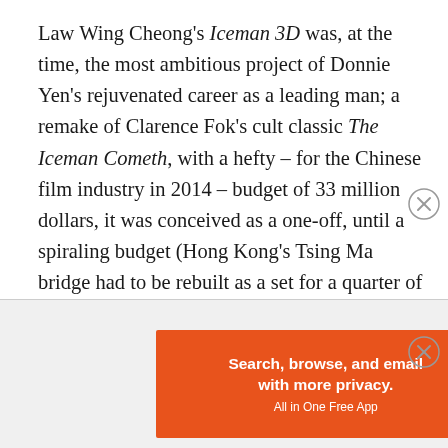Law Wing Cheong's Iceman 3D was, at the time, the most ambitious project of Donnie Yen's rejuvenated career as a leading man; a remake of Clarence Fok's cult classic The Iceman Cometh, with a hefty – for the Chinese film industry in 2014 – budget of 33 million dollars, it was conceived as a one-off, until a spiraling budget (Hong Kong's Tsing Ma bridge had to be rebuilt as a set for a quarter of the film's budget when permission to shoot on the actual one was refused) and the necessity for ever more reshoots led to the decision to release the film as a two-parter. But Iceman 3D had more scatological jokes than fights, and a shoddy grasp of its time-traveling concepts, puzzlingly eschewing the simple, pulpy
Advertisements
[Figure (other): DuckDuckGo advertisement banner with orange left panel reading 'Search, browse, and email with more privacy. All in One Free App' and dark right panel with DuckDuckGo logo]